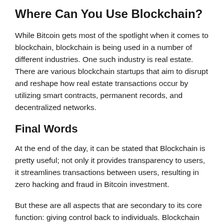Where Can You Use Blockchain?
While Bitcoin gets most of the spotlight when it comes to blockchain, blockchain is being used in a number of different industries. One such industry is real estate. There are various blockchain startups that aim to disrupt and reshape how real estate transactions occur by utilizing smart contracts, permanent records, and decentralized networks.
Final Words
At the end of the day, it can be stated that Blockchain is pretty useful; not only it provides transparency to users, it streamlines transactions between users, resulting in zero hacking and fraud in Bitcoin investment.
But these are all aspects that are secondary to its core function: giving control back to individuals. Blockchain offers a degree of decentralization that has never been